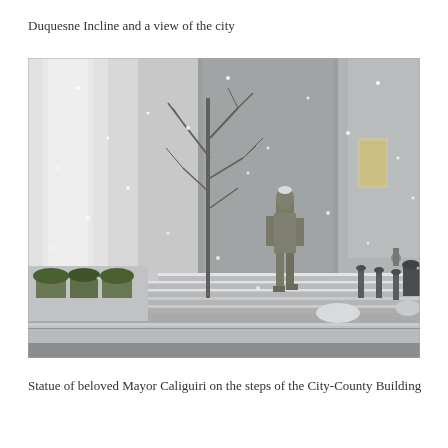Duquesne Incline and a view of the city
[Figure (photo): Black and white snowy winter photograph showing the steps of a large stone building. A bronze statue of a person stands on the steps. Bare trees are visible on the left. Snow is falling. Large stone columns and facade of the City-County Building are visible in the background.]
Statue of beloved Mayor Caliguiri on the steps of the City-County Building